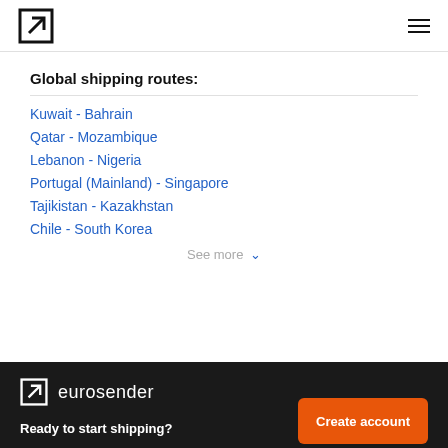eurosender logo + menu
Global shipping routes:
Kuwait - Bahrain
Qatar - Mozambique
Lebanon - Nigeria
Portugal (Mainland) - Singapore
Tajikistan - Kazakhstan
Chile - South Korea
See more
eurosender — Ready to start shipping? Create account